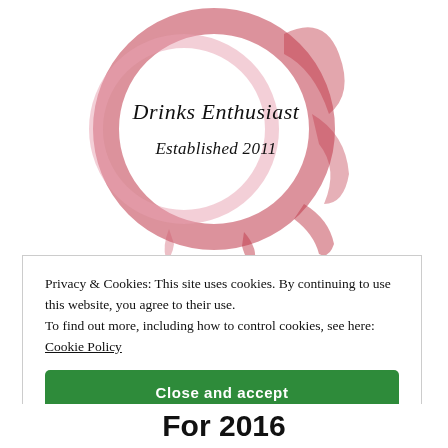[Figure (logo): Drinks Enthusiast logo — a red wine glass ring stain circle with cursive text 'Drinks Enthusiast' and 'Established 2011' inside]
Privacy & Cookies: This site uses cookies. By continuing to use this website, you agree to their use. To find out more, including how to control cookies, see here: Cookie Policy
Close and accept
For 2016